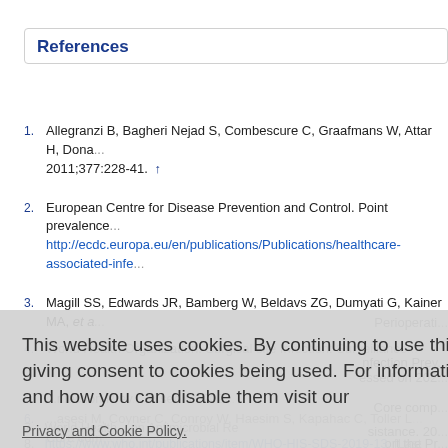References
1. Allegranzi B, Bagheri Nejad S, Combescure C, Graafmans W, Attar H, Dona... 2011;377:228-41. ↑
2. European Centre for Disease Prevention and Control. Point prevalence... http://ecdc.europa.eu/en/publications/Publications/healthcare-associated-infec...
3. Magill SS, Edwards JR, Bamberg W, Beldavs ZG, Dumyati G, Kainer MA, et a...
4. World Health Organization. Surgical site Infection: Surveillance... Perioperati...
5. ...nfection Prevention... accessed on 202...
6. ...asesi M, Coyner C, Conroy W, Haesim S, Kapahac C, Toller L... Core comp...
7. World Health... on Antimicrobial Resistance. 20...
8. World Health... Managing Support the Pr... https://www.who.int/publications/item/WHO-HIS-SDS-2019-13. [Last accesse...
This website uses cookies. By continuing to use this website you are giving consent to cookies being used. For information on cookies and how you can disable them visit our Privacy and Cookie Policy. [AGREE & PROCEED button]